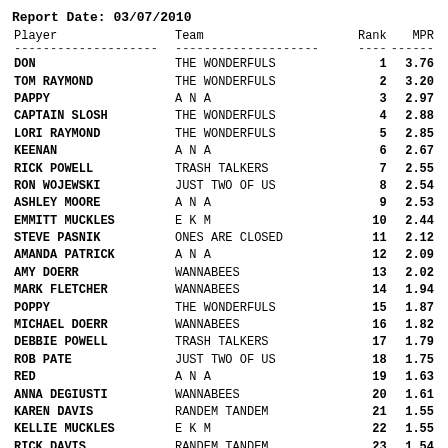Report Date: 03/07/2010
| Player | Team | Rank | MPR |
| --- | --- | --- | --- |
| DON | THE WONDERFULS | 1 | 3.76 |
| TOM RAYMOND | THE WONDERFULS | 2 | 3.20 |
| PAPPY | A N A | 3 | 2.97 |
| CAPTAIN SLOSH | THE WONDERFULS | 4 | 2.88 |
| LORI RAYMOND | THE WONDERFULS | 5 | 2.85 |
| KEENAN | A N A | 6 | 2.67 |
| RICK POWELL | TRASH TALKERS | 7 | 2.55 |
| RON WOJEWSKI | JUST TWO OF US | 8 | 2.54 |
| ASHLEY MOORE | A N A | 9 | 2.53 |
| EMMITT MUCKLES | E K M | 10 | 2.44 |
| STEVE PASNIK | ONES ARE CLOSED | 11 | 2.12 |
| AMANDA PATRICK | A N A | 12 | 2.09 |
| AMY DOERR | WANNABEES | 13 | 2.02 |
| MARK FLETCHER | WANNABEES | 14 | 1.94 |
| POPPY | THE WONDERFULS | 15 | 1.87 |
| MICHAEL DOERR | WANNABEES | 16 | 1.82 |
| DEBBIE POWELL | TRASH TALKERS | 17 | 1.79 |
| ROB PATE | JUST TWO OF US | 18 | 1.75 |
| RED | A N A | 19 | 1.63 |
| ANNA DEGIUSTI | WANNABEES | 20 | 1.61 |
| KAREN DAVIS | RANDEM TANDEM | 21 | 1.55 |
| KELLIE MUCKLES | E K M | 22 | 1.55 |
| RICK DAVIS | RANDEM TANDEM | 23 | 1.54 |
| TARA WOJEWSKI | JUST TWO OF US | 24 | 1.51 |
| RACHEL CASKER | ONES ARE CLOSED | 25 | 1.46 |